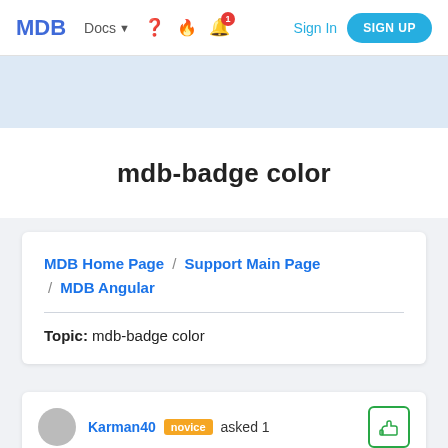MDB  Docs  ❓  🔥  🔔1  Sign In  SIGN UP
mdb-badge color
MDB Home Page / Support Main Page / MDB Angular
Topic: mdb-badge color
Karman40  novice  asked 1